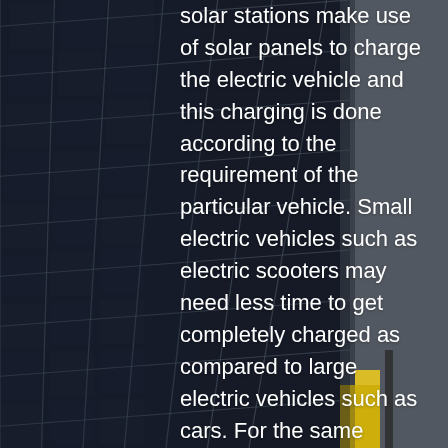[Figure (photo): Close-up photograph of dark solar panels arranged in a grid pattern with white grid lines, taken at an angle. A yellow and black structure is partially visible at the bottom right.]
solar stations make use of solar panels to charge the electric vehicle and this charging is done according to the requirement of the particular vehicle. Small electric vehicles such as electric scooters may need less time to get completely charged as compared to large electric vehicles such as cars. For the same reason, there exist different ways through which people can charge their different electric vehicles. Ways to Charge your...